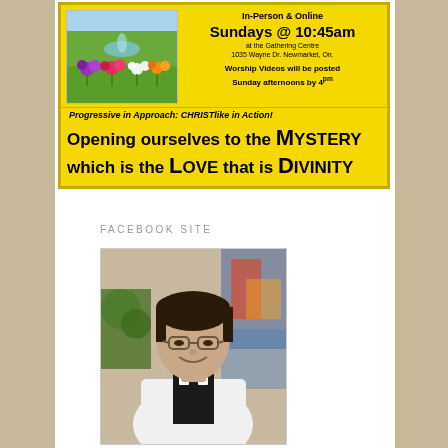[Figure (infographic): Yellow church flyer with photo of flowers/fountain garden, bold text: In-Person & Online, Sundays @ 10:45am, at the Gathering Centre, 1035 Wayne Dr. Newmarket, On., Worship Videos will be posted Sunday afternoons by 4pm. Bottom text: Progressive in Approach: CHRISTlike in Action! Opening ourselves to the MYSTERY which is the LOVE that is DIVINITY]
FACEBOOK SITE
[Figure (photo): Portrait photo of a smiling woman with dark hair, glasses, wearing a white blazer and black clerical collar shirt]